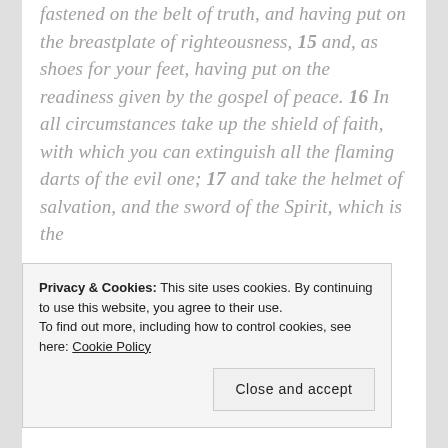fastened on the belt of truth, and having put on the breastplate of righteousness, 15 and, as shoes for your feet, having put on the readiness given by the gospel of peace. 16 In all circumstances take up the shield of faith, with which you can extinguish all the flaming darts of the evil one; 17 and take the helmet of salvation, and the sword of the Spirit, which is the
Privacy & Cookies: This site uses cookies. By continuing to use this website, you agree to their use. To find out more, including how to control cookies, see here: Cookie Policy
Close and accept